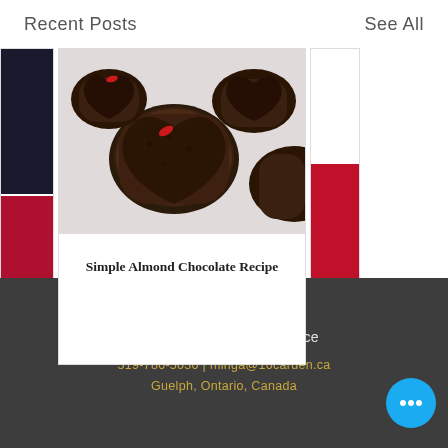Recent Posts
See All
[Figure (photo): Heart-shaped dark chocolate almond treats with red candy decorations on a white surface]
Simple Almond Chocolate Recipe
[Figure (photo): Partial left-side cards showing dark and red book/poster imagery]
[Figure (photo): Partial right-side card with red fabric]
©2018 by 10C Shared Space
519-780-5030 | minga@10carden.ca
Guelph, Ontario, Canada